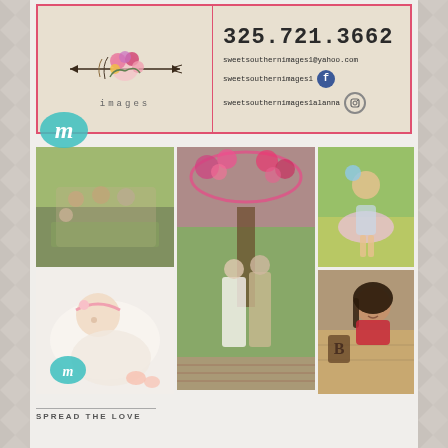[Figure (other): Sweet Southern Images business card with floral/arrow logo, phone number 325.721.3662, email sweetsouthernimages1@yahoo.com, Facebook: sweetsouthernimages1, Instagram: sweetsouthernimages1alanna]
[Figure (photo): Family portrait outdoors – parents with three children seated on chairs in a grassy area]
[Figure (photo): Wedding ceremony outdoors under floral arch – bride and groom exchanging vows]
[Figure (photo): Young girl in a pink tutu dancing in a yellow wildflower field]
[Figure (photo): Newborn baby sleeping wrapped in white cloth with a headband]
[Figure (photo): Young woman in red dress lying on wooden surface posing for senior portrait]
SPREAD THE LOVE